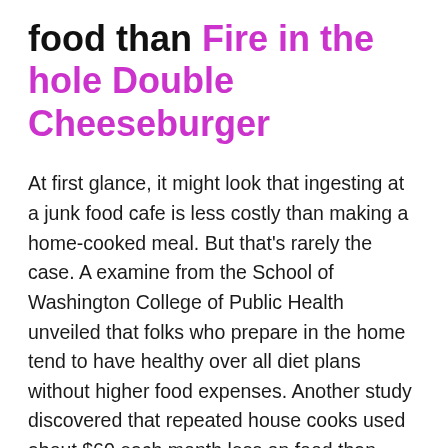food than Fire in the hole Double Cheeseburger
At first glance, it might look that ingesting at a junk food cafe is less costly than making a home-cooked meal. But that's rarely the case. A examine from the School of Washington College of Public Health unveiled that folks who prepare in the home tend to have healthy over all diet plans without higher food expenses. Another study discovered that repeated house cooks used about $60 each month less on food than people who ate out more often.
I don't understand how to prepare Fire in the hole Double Cheeseburger